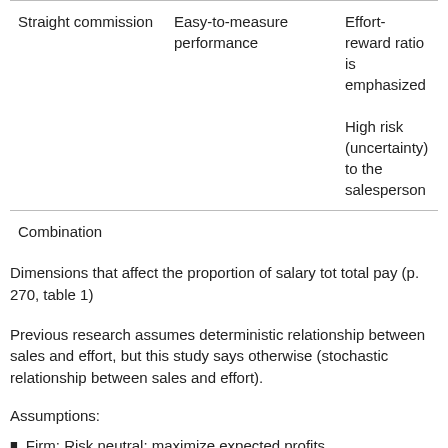|  |  |  |
| --- | --- | --- |
| Straight commission | Easy-to-measure performance | Effort-reward ratio is emphasized

High risk (uncertainty) to the salesperson |
| Combination |  |  |
Dimensions that affect the proportion of salary tot total pay (p. 270, table 1)
Previous research assumes deterministic relationship between sales and effort, but this study says otherwise (stochastic relationship between sales and effort).
Assumptions:
Firm: Risk neutral: maximize expected profits